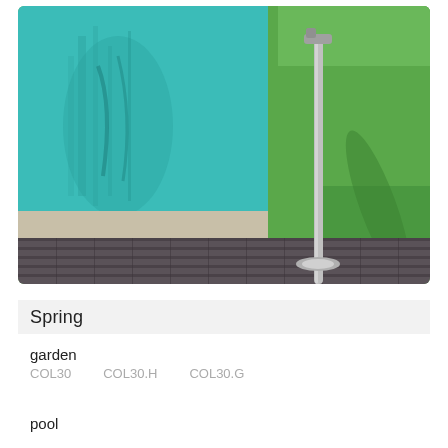[Figure (photo): Outdoor swimming pool with turquoise water reflecting palm trees, concrete pool surround, dark wooden decking in the foreground, stainless steel shower pole, and green lawn in the background.]
Spring
garden
COL30    COL30.H    COL30.G
pool